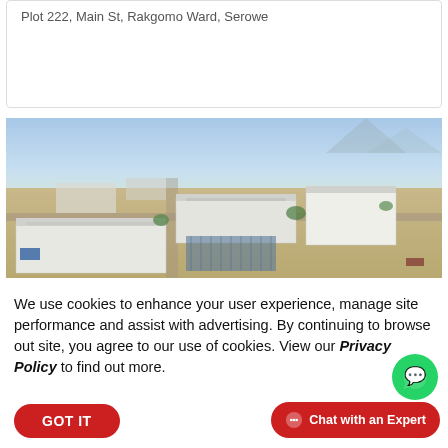Plot 222, Main St, Rakgomo Ward, Serowe
[Figure (photo): Aerial drone view of an industrial/warehouse complex with flat-roofed white buildings, paved roads, and surrounding suburban area under a partly cloudy sky.]
We use cookies to enhance your user experience, manage site performance and assist with advertising. By continuing to browse out site, you agree to our use of cookies. View our Privacy Policy to find out more.